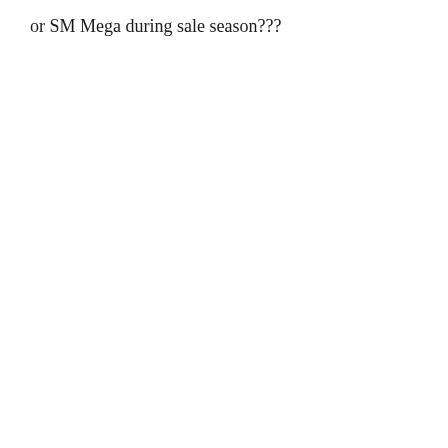or SM Mega during sale season???